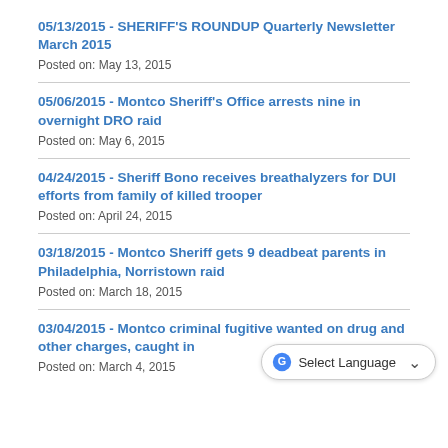05/13/2015 - SHERIFF'S ROUNDUP Quarterly Newsletter March 2015
Posted on: May 13, 2015
05/06/2015 - Montco Sheriff's Office arrests nine in overnight DRO raid
Posted on: May 6, 2015
04/24/2015 - Sheriff Bono receives breathalyzers for DUI efforts from family of killed trooper
Posted on: April 24, 2015
03/18/2015 - Montco Sheriff gets 9 deadbeat parents in Philadelphia, Norristown raid
Posted on: March 18, 2015
03/04/2015 - Montco criminal fugitive wanted on drug and other charges, caught in
Posted on: March 4, 2015